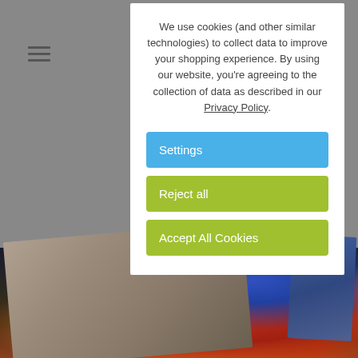[Figure (screenshot): Website cookie consent popup overlay on top of an e-commerce page showing a colorful parrot photo print product. Background shows a hamburger menu icon and product image.]
We use cookies (and other similar technologies) to collect data to improve your shopping experience. By using our website, you're agreeing to the collection of data as described in our Privacy Policy.
Settings
Reject all
Accept All Cookies